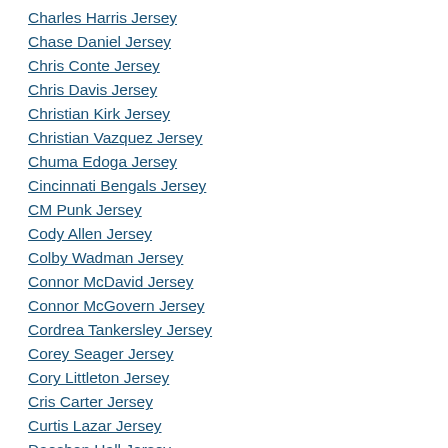Charles Harris Jersey
Chase Daniel Jersey
Chris Conte Jersey
Chris Davis Jersey
Christian Kirk Jersey
Christian Vazquez Jersey
Chuma Edoga Jersey
Cincinnati Bengals Jersey
CM Punk Jersey
Cody Allen Jersey
Colby Wadman Jersey
Connor McDavid Jersey
Connor McGovern Jersey
Cordrea Tankersley Jersey
Corey Seager Jersey
Cory Littleton Jersey
Cris Carter Jersey
Curtis Lazar Jersey
Daeshon Hall Jersey